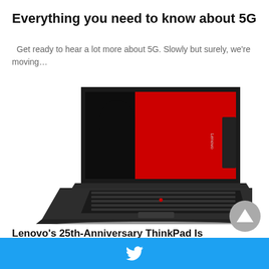Everything you need to know about 5G
Get ready to hear a lot more about 5G. Slowly but surely, we're moving…
[Figure (photo): Lenovo ThinkPad laptop open, showing a red and black screen with a person's silhouette and the Lenovo logo on the screen bezel]
Lenovo's 25th-Anniversary ThinkPad Is Just Like The First One, But With
[Figure (other): Grey circular scroll-to-top button with white upward-pointing triangle]
Twitter share bar with bird icon